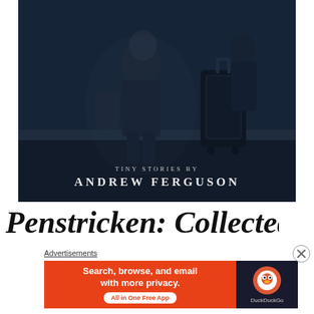[Figure (photo): Dark blue-toned photo of a woman sitting at what appears to be a transit station, with luggage nearby. Overlaid with text 'TINY STORIES BY ANDREW FERGUSON'.]
Penstricken: Collected
Advertisements
[Figure (infographic): DuckDuckGo advertisement banner: 'Search, browse, and email with more privacy. All in One Free App' with DuckDuckGo logo on dark right panel.]